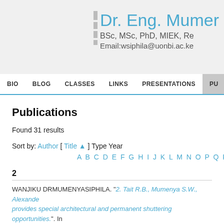Dr. Eng. Mumenya — BSc, MSc, PhD, MIEK, Re... — Email:wsiphila@uonbi.ac.ke
BIO | BLOG | CLASSES | LINKS | PRESENTATIONS | PU...
Publications
Found 31 results
Sort by: Author [ Title ▲ ] Type Year
A B C D E F G H I J K L M N O P Q R S
2
WANJIKU DRMUMENYASIPHILA. "2. Tait R.B., Mumenya S.W., Alexande... provides special architectural and permanent shuttering opportunities.". In...